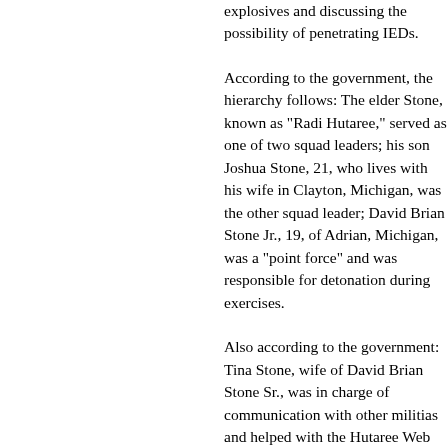explosives and discussing the possibility of penetrating IEDs.
According to the government, the hierarchy follows: The elder Stone, known as "Radi Hutaree," served as one of two squad leaders; his son Joshua Stone, 21, who lives with his wife in Clayton, Michigan, was the other squad leader; David Brian Stone Jr., 19, of Adrian, Michigan, was a "point force" and was responsible for detonation during exercises.
Also according to the government: Tina Stone, wife of David Brian Stone Sr., was in charge of communication with other militias and helped with the Hutaree Web site; Thomas Piatek, of Sandusky, Ohio, was the self-described "radio officer" of the Hutaree militia; Joshua John Clough, of Blissfield, Michigan, was an information officer, responsible for the Hutaree Web site, online videos and explosives; he was also a "machine gunner" responsible for laying down heavy fire during exercises, as were Michael David Meeks, 40, of Manchester, Michigan, and Jacob Ward, 33, of Huron, Ohio.
Ward and Sickles traveled from Ohio...